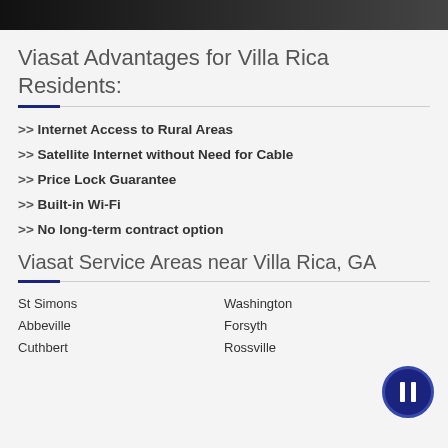Viasat Advantages for Villa Rica Residents:
>> Internet Access to Rural Areas
>> Satellite Internet without Need for Cable
>> Price Lock Guarantee
>> Built-in Wi-Fi
>> No long-term contract option
Viasat Service Areas near Villa Rica, GA
St Simons
Abbeville
Cuthbert
Washington
Forsyth
Rossville